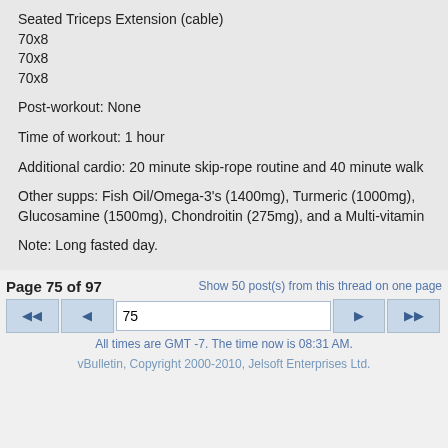Seated Triceps Extension (cable)
70x8
70x8
70x8
Post-workout: None
Time of workout: 1 hour
Additional cardio: 20 minute skip-rope routine and 40 minute walk
Other supps: Fish Oil/Omega-3's (1400mg), Turmeric (1000mg), Glucosamine (1500mg), Chondroitin (275mg), and a Multi-vitamin
Note: Long fasted day.
Page 75 of 97
Show 50 post(s) from this thread on one page
75
All times are GMT -7. The time now is 08:31 AM.
vBulletin, Copyright 2000-2010, Jelsoft Enterprises Ltd.